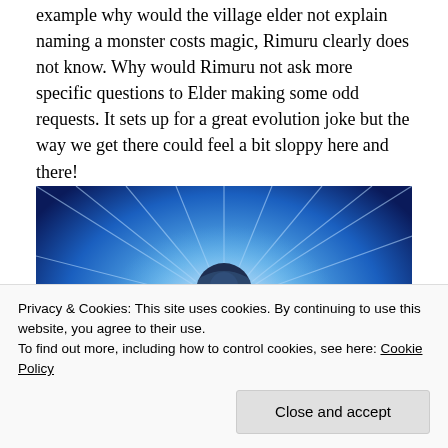example why would the village elder not explain naming a monster costs magic, Rimuru clearly does not know. Why would Rimuru not ask more specific questions to Elder making some odd requests. It sets up for a great evolution joke but the way we get there could feel a bit sloppy here and there!
[Figure (illustration): Anime screenshot showing a glowing muscular humanoid figure standing against a bright blue radial light burst background, rendered in dark blue tones.]
Privacy & Cookies: This site uses cookies. By continuing to use this website, you agree to their use.
To find out more, including how to control cookies, see here: Cookie Policy